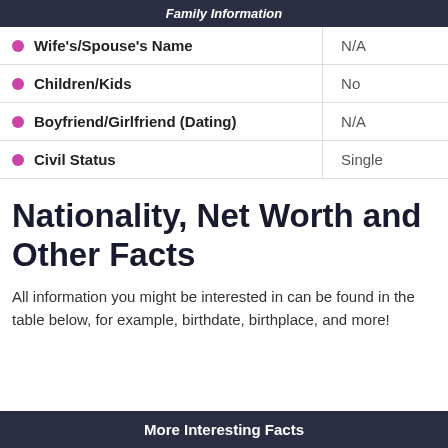Family Information
| Field | Value |
| --- | --- |
| Wife's/Spouse's Name | N/A |
| Children/Kids | No |
| Boyfriend/Girlfriend (Dating) | N/A |
| Civil Status | Single |
Nationality, Net Worth and Other Facts
All information you might be interested in can be found in the table below, for example, birthdate, birthplace, and more!
More Interesting Facts